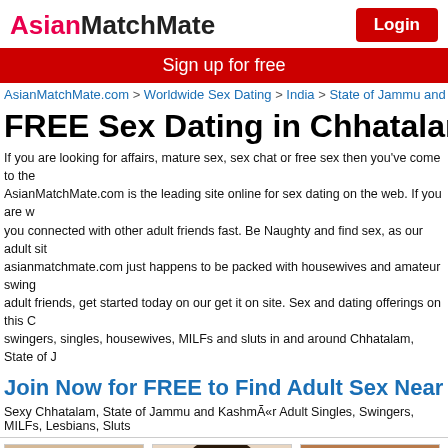AsianMatchMate | Login
Sign up for free
AsianMatchMate.com > Worldwide Sex Dating > India > State of Jammu and Kash
FREE Sex Dating in Chhatalam
If you are looking for affairs, mature sex, sex chat or free sex then you've come to the right place. AsianMatchMate.com is the leading site online for sex dating on the web. If you are we'll get you connected with other adult friends fast. Be Naughty and find sex, as our adult site asianmatchmate.com just happens to be packed with housewives and amateur swingers looking for adult friends, get started today on our get it on site. Sex and dating offerings on this Chhatalam swingers, singles, housewives, MILFs and sluts in and around Chhatalam, State of J
Join Now for FREE to Find Adult Sex Near Ch
Sexy Chhatalam, State of Jammu and KashmÃ«r Adult Singles, Swingers, MILFs, Lesbians, Sluts
[Figure (photo): Profile photo of Spicygirlforu]
[Figure (photo): Profile photo of Himanshi9]
[Figure (photo): Profile photo of Rk339989]